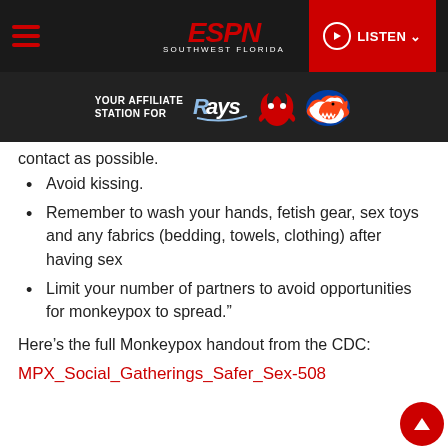[Figure (screenshot): ESPN Southwest Florida navigation bar with hamburger menu, ESPN logo in red italic, and red LISTEN button with play icon]
[Figure (screenshot): Dark affiliate banner: YOUR AFFILIATE STATION FOR followed by Tampa Bay Rays, Tampa Bay Buccaneers, and Florida Gators logos]
contact as possible.
Avoid kissing.
Remember to wash your hands, fetish gear, sex toys and any fabrics (bedding, towels, clothing) after having sex
Limit your number of partners to avoid opportunities for monkeypox to spread.”
Here’s the full Monkeypox handout from the CDC:
MPX_Social_Gatherings_Safer_Sex-508